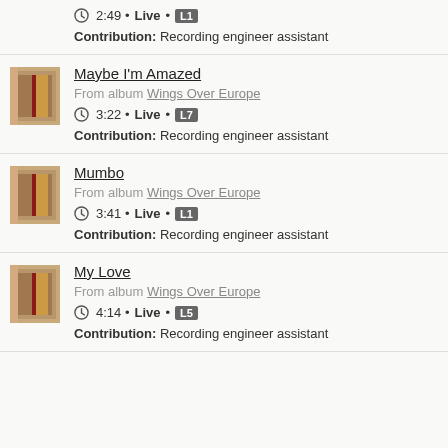2:49 • Live • L1 — Contribution: Recording engineer assistant
Maybe I'm Amazed — From album Wings Over Europe — 3:22 • Live • L7 — Contribution: Recording engineer assistant
Mumbo — From album Wings Over Europe — 3:41 • Live • L1 — Contribution: Recording engineer assistant
My Love — From album Wings Over Europe — 4:14 • Live • L5 — Contribution: Recording engineer assistant